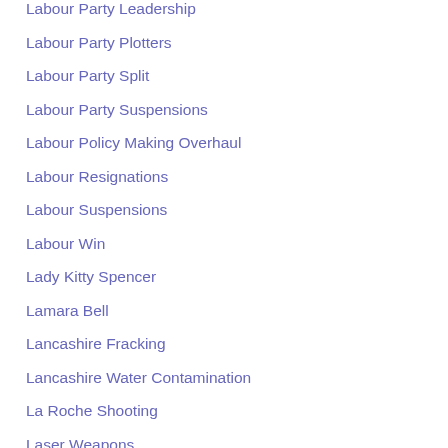Labour Party Leadership
Labour Party Plotters
Labour Party Split
Labour Party Suspensions
Labour Policy Making Overhaul
Labour Resignations
Labour Suspensions
Labour Win
Lady Kitty Spencer
Lamara Bell
Lancashire Fracking
Lancashire Water Contamination
La Roche Shooting
Laser Weapons
Last Briton In Gitmo
Latest Euromillions Winner
Laughing Gas
Leaders Debate